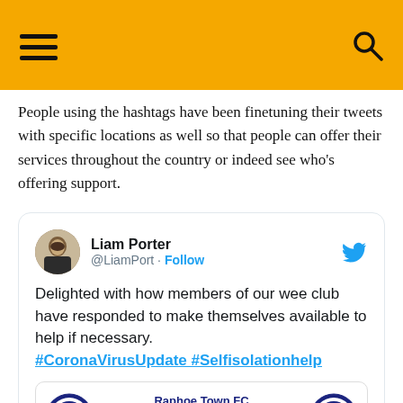Navigation header with hamburger menu and search icon
People using the hashtags have been finetuning their tweets with specific locations as well so that people can offer their services throughout the country or indeed see who's offering support.
[Figure (screenshot): Embedded tweet from Liam Porter (@LiamPort) with Follow button and Twitter bird logo. Tweet text: 'Delighted with how members of our wee club have responded to make themselves available to help if necessary. #CoronaVirusUpdate #Selfisolationhelp'. Contains an inner card showing Raphoe Town FC Assistance during Covid-19 Pandemic with two FC logos.]